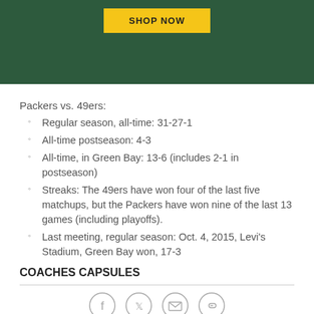[Figure (photo): Dark green background with a yellow 'SHOP NOW' button at the top center]
Packers vs. 49ers:
Regular season, all-time: 31-27-1
All-time postseason: 4-3
All-time, in Green Bay: 13-6 (includes 2-1 in postseason)
Streaks: The 49ers have won four of the last five matchups, but the Packers have won nine of the last 13 games (including playoffs).
Last meeting, regular season: Oct. 4, 2015, Levi's Stadium, Green Bay won, 17-3
COACHES CAPSULES
Social share icons: Facebook, Twitter, Email, Link